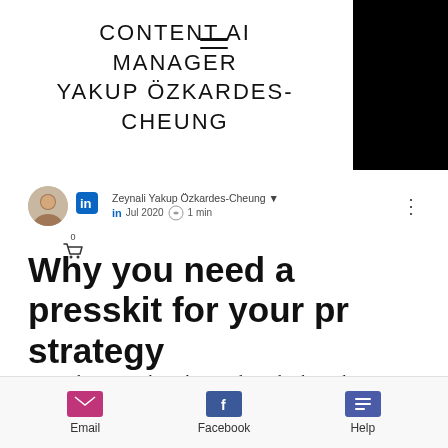CONTENT AI MANAGER YAKUP ÖZKARDES-CHEUNG
Zeynali Yakup Özkardes-Cheung · in · Jul 2020 · 1 min
Why you need a presskit for your pr strategy
◼ Give them everything they need ◼ Make their job easier ◼ Use Searchpresskits.com ◼ Create a welcome page for journalists on your
Email   Facebook   Help